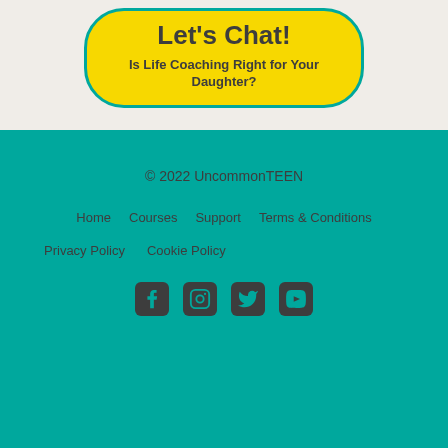Let's Chat!
Is Life Coaching Right for Your Daughter?
© 2022 UncommonTEEN
Home
Courses
Support
Terms & Conditions
Privacy Policy
Cookie Policy
[Figure (other): Social media icons: Facebook, Instagram, Twitter, YouTube]